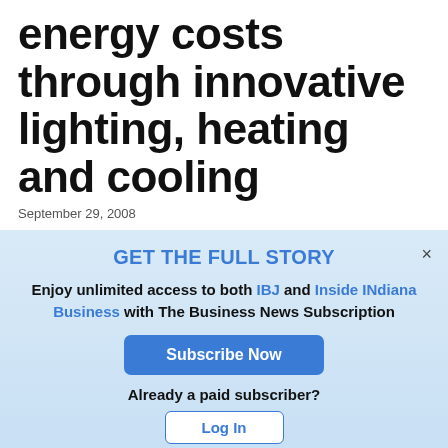energy costs through innovative lighting, heating and cooling
September 29, 2008
KEYWORDS ENERGY & ENVIRONMENT / ENERGY EFFICIENCY / ENVIRONMENT / RETAIL / TECHNOLOGY
GET THE FULL STORY
Enjoy unlimited access to both IBJ and Inside INdiana Business with The Business News Subscription
Subscribe Now
Already a paid subscriber?
Log In